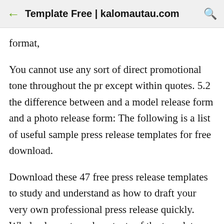Template Free | kalomautau.com
format,
You cannot use any sort of direct promotional tone throughout the pr except within quotes. 5.2 the difference between and a model release form and a photo release form: The following is a list of useful sample press release templates for free download.
Download these 47 free press release templates to study and understand as how to draft your very own professional press release quickly. Whole elements and contents of the template are